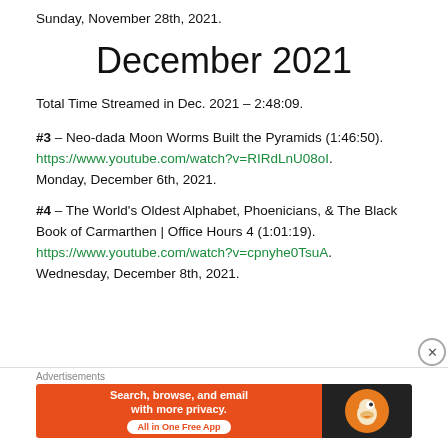Sunday, November 28th, 2021.
December 2021
Total Time Streamed in Dec. 2021 – 2:48:09.
#3 – Neo-dada Moon Worms Built the Pyramids (1:46:50). https://www.youtube.com/watch?v=RIRdLnU08oI. Monday, December 6th, 2021.
#4 – The World's Oldest Alphabet, Phoenicians, & The Black Book of Carmarthen | Office Hours 4 (1:01:19). https://www.youtube.com/watch?v=cpnyhe0TsuA. Wednesday, December 8th, 2021.
Advertisements
[Figure (other): DuckDuckGo advertisement banner: orange section with text 'Search, browse, and email with more privacy. All in One Free App' and dark section with DuckDuckGo duck logo]